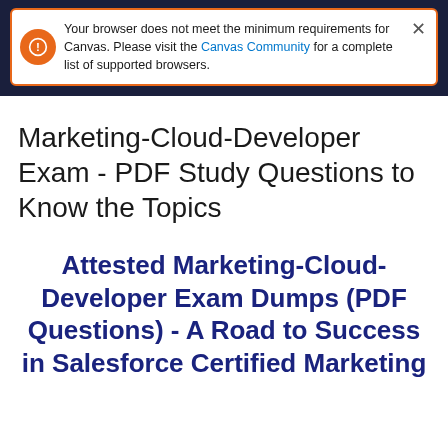Your browser does not meet the minimum requirements for Canvas. Please visit the Canvas Community for a complete list of supported browsers.
Marketing-Cloud-Developer Exam - PDF Study Questions to Know the Topics
Attested Marketing-Cloud-Developer Exam Dumps (PDF Questions) - A Road to Success in Salesforce Certified Marketing